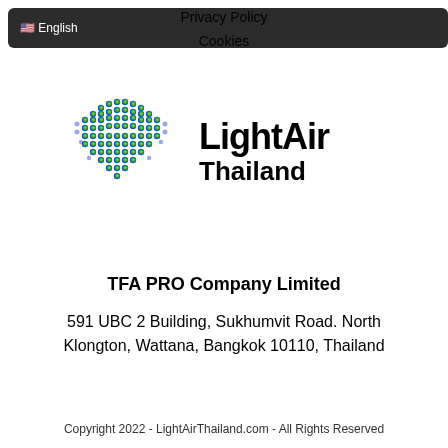🇺🇸 English   Privacy Policy   Cookies
[Figure (logo): LightAir Thailand logo — dot-matrix heart shape in blue-green-yellow gradient on left, 'LightAir Thailand' bold text on right]
TFA PRO Company Limited
591 UBC 2 Building, Sukhumvit Road. North Klongton, Wattana, Bangkok 10110, Thailand
Copyright 2022 - LightAirThailand.com - All Rights Reserved